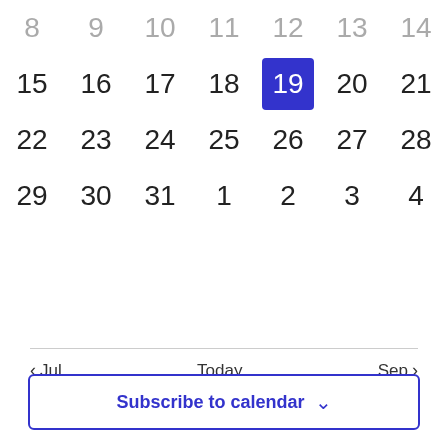[Figure (screenshot): Calendar grid showing partial month. Row 1: 8,9,10,11,12,13,14 (gray). Row 2: 15,16,17,18 (gray), 19 (highlighted blue/today), 20,21. Row 3: 22,23,24,25,26,27,28. Row 4: 29,30,31,1,2,3,4.]
There are no events on this day.
< Jul   Today   Sep >
Subscribe to calendar